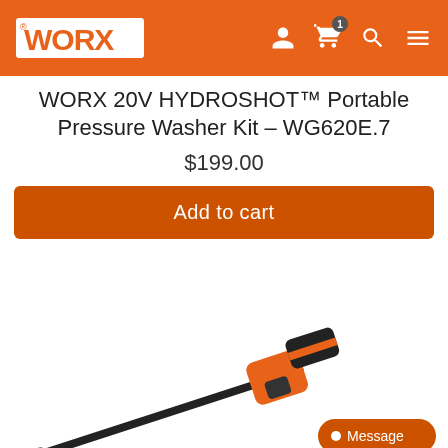WORX — Navigation header with logo, account, cart, search, and menu icons
WORX 20V HYDROSHOT™ Portable Pressure Washer Kit – WG620E.7
$199.00
Add to cart
[Figure (photo): WORX HYDROSHOT portable pressure washer tool — a long black lance with orange and black handle/gun assembly, shown on white background]
Message